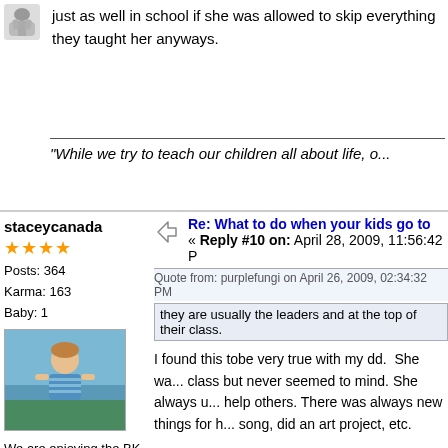just as well in school if she was allowed to skip everything they taught her anyways.
"While we try to teach our children all about life, o...
staceycanada
Posts: 364
Karma: 163
Baby: 1
We are enjoying the BK Math, reading and music
Re: What to do when your kids go to
« Reply #10 on: April 28, 2009, 11:56:42 P
Quote from: purplefungi on April 26, 2009, 02:34:32 PM
they are usually the leaders and at the top of their class.
I found this tobe very true with my dd.  She wa... class but never seemed to mind. She always u... help others. There was always new things for h... song, did an art project, etc.
Luckily my daughter had wonderful teachers w... gave her extra work that was harder.